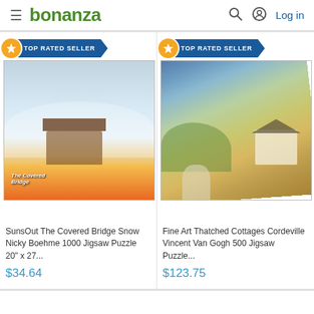bonanza  Log in
[Figure (screenshot): Bonanza e-commerce product listing page showing two puzzle products. Left: SunsOut The Covered Bridge Snow Nicky Boehme 1000 Jigsaw Puzzle 20" x 27... priced at $34.64. Right: Fine Art Thatched Cottages Cordeville Vincent Van Gogh 500 Jigsaw Puzzle... priced at $123.75. Both items have a 'TOP RATED SELLER' badge.]